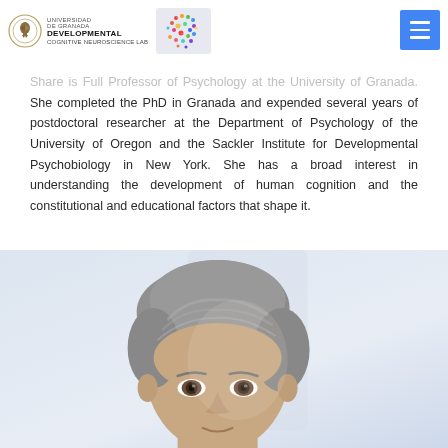UNIVERSIDAD DE GRANADA — DEVELOPMENTAL COGNITIVE NEUROSCIENCE LAB
Share is Full Professor of Psychology at the University of Granada. She completed the PhD in Granada and expended several years of postdoctoral researcher at the Department of Psychology of the University of Oregon and the Sackler Institute for Developmental Psychobiology in New York. She has a broad interest in understanding the development of human cognition and the constitutional and educational factors that shape it.
[Figure (photo): Head and shoulders photograph of a woman with short grey hair against a light background]